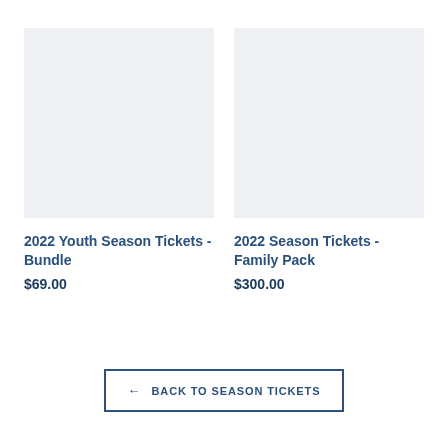[Figure (photo): Light blue-grey placeholder image for 2022 Youth Season Tickets - Bundle product]
2022 Youth Season Tickets - Bundle
$69.00
[Figure (photo): Light blue-grey placeholder image for 2022 Season Tickets - Family Pack product]
2022 Season Tickets - Family Pack
$300.00
← BACK TO SEASON TICKETS